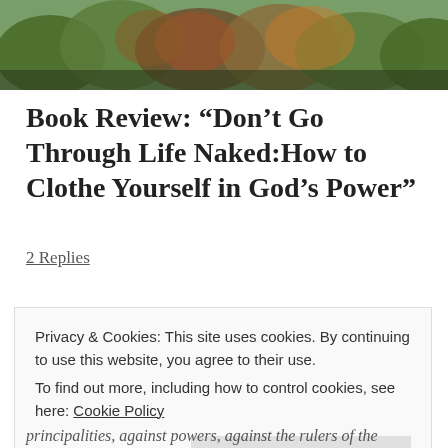[Figure (photo): Outdoor nature scene showing autumn foliage and vegetation, banner/hero image at top of webpage]
Book Review: “Don’t Go Through Life Naked:How to Clothe Yourself in God’s Power”
2 Replies
How’s that battle with your enemy going? No, not your boss…
Privacy & Cookies: This site uses cookies. By continuing to use this website, you agree to their use.
To find out more, including how to control cookies, see here: Cookie Policy
Close and accept
principalities, against powers, against the rulers of the